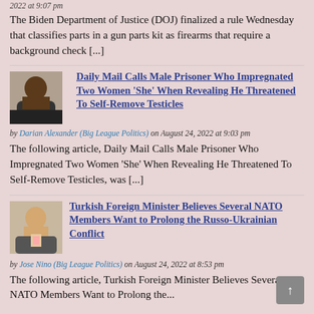2022 at 9:07 pm
The Biden Department of Justice (DOJ) finalized a rule Wednesday that classifies parts in a gun parts kit as firearms that require a background check [...]
[Figure (photo): Thumbnail photo of a dark-skinned male person, headshot]
Daily Mail Calls Male Prisoner Who Impregnated Two Women ‘She’ When Revealing He Threatened To Self-Remove Testicles
by Darian Alexander (Big League Politics) on August 24, 2022 at 9:03 pm
The following article, Daily Mail Calls Male Prisoner Who Impregnated Two Women ‘She’ When Revealing He Threatened To Self-Remove Testicles, was [...]
[Figure (photo): Thumbnail photo of a man in a suit, likely a Turkish official]
Turkish Foreign Minister Believes Several NATO Members Want to Prolong the Russo-Ukrainian Conflict
by Jose Nino (Big League Politics) on August 24, 2022 at 8:53 pm
The following article, Turkish Foreign Minister Believes Several NATO Members Want to Prolong the...